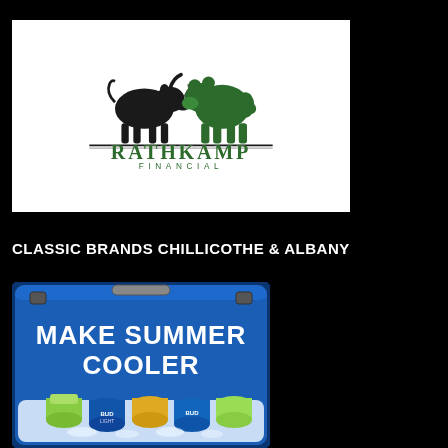[Figure (logo): Rathkamp Financial logo featuring a black bull and green bear facing each other above the text RATHKAMP FINANCIAL]
CLASSIC BRANDS CHILLICOTHE & ALBANY
[Figure (photo): Blue cooler with text MAKE SUMMER COOLER and various beer cans on ice including Bud Light]